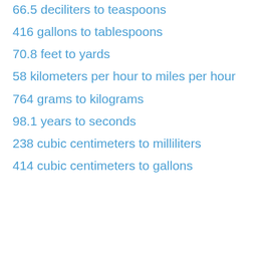66.5 deciliters to teaspoons
416 gallons to tablespoons
70.8 feet to yards
58 kilometers per hour to miles per hour
764 grams to kilograms
98.1 years to seconds
238 cubic centimeters to milliliters
414 cubic centimeters to gallons